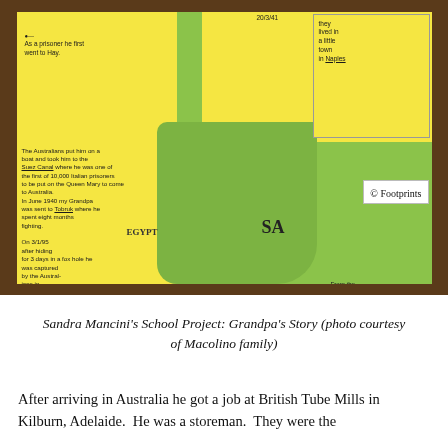[Figure (photo): A child's hand-drawn school project showing a map of Australia (in green) overlaid on yellow panels with handwritten text about an Italian prisoner of war grandfather named Grandpa. Text panels describe his journey: captured in Egypt, sent to Tobruk, transported to Australia via Suez Canal on the Queen Mary, held at Hay Barracks, then Sandy Creek Barracks, and worked on railways at Cook and at farms including Mt. Barker, Gumeracha, Jervois and Murray Bridge. The map shows SA (South Australia) label. There is a copyright Footprints watermark.]
Sandra Mancini's School Project: Grandpa's Story (photo courtesy of Macolino family)
After arriving in Australia he got a job at British Tube Mills in Kilburn, Adelaide.  He was a storeman.  They were the